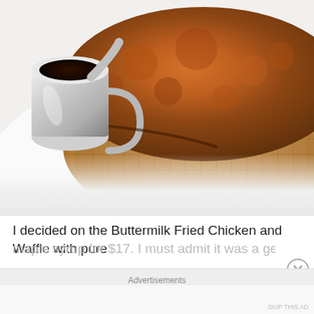[Figure (photo): Close-up photo of a Buttermilk Fried Chicken and Waffle dish on a white plate, with a small metal pitcher of dark syrup on the left side. The golden-brown crispy fried chicken sits on top of a large Belgian waffle.]
I decided on the Buttermilk Fried Chicken and Waffle with pure
maple syrup for $17. I must admit it was a generous portion of the
Advertisements
SKIP THIS AD